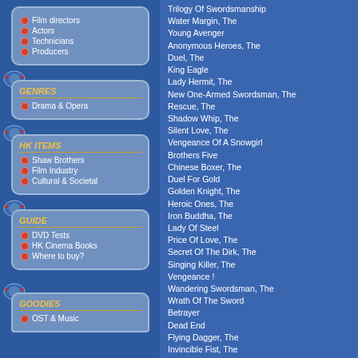Film directors
Actors
Technicians
Producers
GENRES
Drama & Opera
HK ITEMS
Shaw Brothers
Film Industry
Cultural & Societal
GUIDE
DVD Tests
HK Cinema Books
Where to buy?
GOODIES
OST & Music
Trilogy Of Swordsmanship
Water Margin, The
Young Avenger
Anonymous Heroes, The
Duel, The
King Eagle
Lady Hermit, The
New One-Armed Swordsman, The
Rescue, The
Shadow Whip, The
Silent Love, The
Vengeance Of A Snowgirl
Brothers Five
Chinese Boxer, The
Duel For Gold
Golden Knight, The
Heroic Ones, The
Iron Buddha, The
Lady Of Steel
Price Of Love, The
Secret Of The Dirk, The
Singing Killer, The
Vengeance !
Wandering Swordsman, The
Wrath Of The Sword
Betrayer
Dead End
Flying Dagger, The
Invincible Fist, The
Millionaire Chase, The
Raw Courage
Redress
Return Of The One-Armed Swordsman
Singing Thief, The
Temptress Of A Thousand Faces
Three Smiles, The
Vengeance Is A Golden Blade
Angel Strikes Again